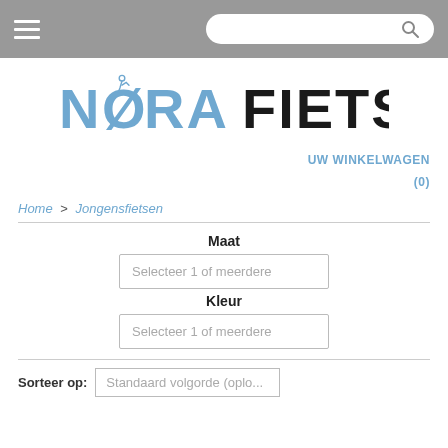Navigation bar with hamburger menu and search bar
[Figure (logo): NoraFietsen logo — NORA in blue, FIETSEN in dark/black, with a cyclist icon integrated into the O]
UW WINKELWAGEN (0)
Home > Jongensfietsen
Maat
Selecteer 1 of meerdere
Kleur
Selecteer 1 of meerdere
Sorteer op: Standaard volgorde (oplo...